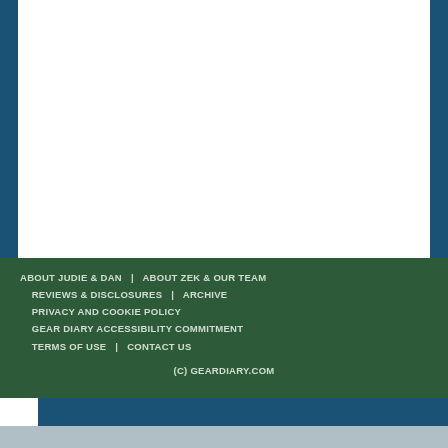ABOUT JUDIE & DAN | ABOUT ZEK & OUR TEAM | REVIEWS & DISCLOSURES | ARCHIVE | PRIVACY AND COOKIE POLICY | GEAR DIARY ACCESSIBILITY COMMITMENT | TERMS OF USE | CONTACT US
(C) GEARDIARY.COM